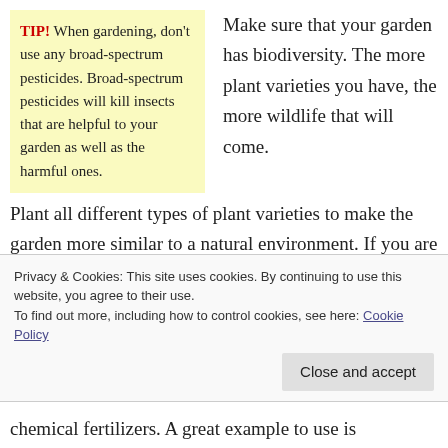TIP! When gardening, don't use any broad-spectrum pesticides. Broad-spectrum pesticides will kill insects that are helpful to your garden as well as the harmful ones.
Make sure that your garden has biodiversity. The more plant varieties you have, the more wildlife that will come.
Plant all different types of plant varieties to make the garden more similar to a natural environment. If you are able to achieve this, the garden will be the perfect place to relax, and you will have the satisfaction that comes from doing your bit for the environment.
Privacy & Cookies: This site uses cookies. By continuing to use this website, you agree to their use. To find out more, including how to control cookies, see here: Cookie Policy
chemical fertilizers. A great example to use is